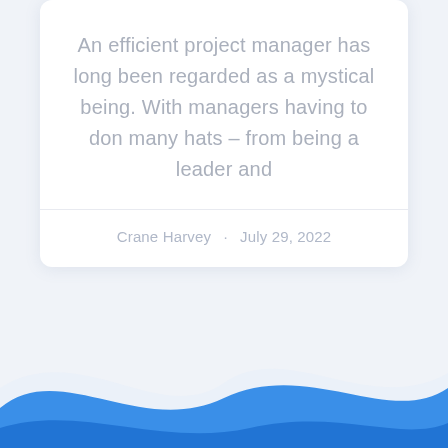An efficient project manager has long been regarded as a mystical being. With managers having to don many hats – from being a leader and
Crane Harvey · July 29, 2022
[Figure (illustration): Blue wave shape at the bottom of the page, decorative background element]